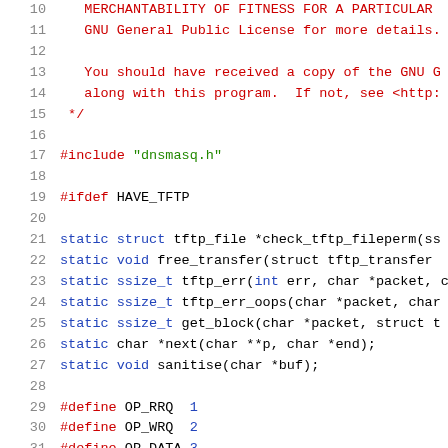Source code listing, lines 10-31, C preprocessor file with TFTP implementation
[Figure (screenshot): Syntax-highlighted C source code showing lines 10-31 of a file. Lines 10-11 are red comment text about GNU General Public License. Lines 13-15 are red comment text. Line 17 has a #include directive in dark red with green string. Line 19 has #ifdef in dark red. Lines 21-27 have blue/dark static function declarations. Lines 29-31 have #define macros.]